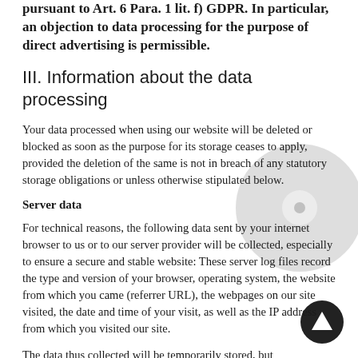controller's future processing of their data pursuant to Art. 6 Para. 1 lit. f) GDPR. In particular, an objection to data processing for the purpose of direct advertising is permissible.
III. Information about the data processing
Your data processed when using our website will be deleted or blocked as soon as the purpose for its storage ceases to apply, provided the deletion of the same is not in breach of any statutory storage obligations or unless otherwise stipulated below.
Server data
For technical reasons, the following data sent by your internet browser to us or to our server provider will be collected, especially to ensure a secure and stable website: These server log files record the type and version of your browser, operating system, the website from which you came (referrer URL), the webpages on our site visited, the date and time of your visit, as well as the IP address from which you visited our site.
The data thus collected will be temporarily stored, but not in association with any other of your data.